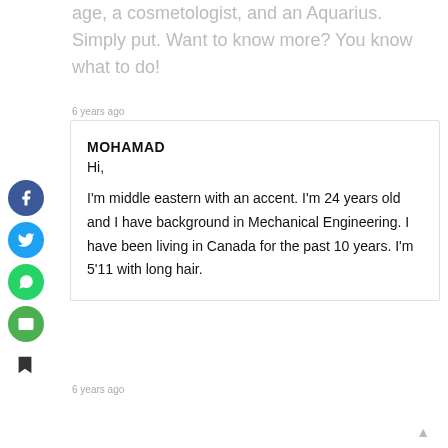age, a cosmetologist, and an Aquarius. Simply put. Want to know more? You know what to do!
6 years ago
MOHAMAD
Hi,

I'm middle eastern with an accent. I'm 24 years old and I have background in Mechanical Engineering. I have been living in Canada for the past 10 years. I'm 5'11 with long hair.
6 years ago